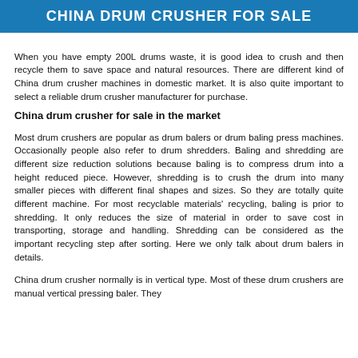CHINA DRUM CRUSHER FOR SALE
When you have empty 200L drums waste, it is good idea to crush and then recycle them to save space and natural resources. There are different kind of China drum crusher machines in domestic market. It is also quite important to select a reliable drum crusher manufacturer for purchase.
China drum crusher for sale in the market
Most drum crushers are popular as drum balers or drum baling press machines. Occasionally people also refer to drum shredders. Baling and shredding are different size reduction solutions because baling is to compress drum into a height reduced piece. However, shredding is to crush the drum into many smaller pieces with different final shapes and sizes. So they are totally quite different machine. For most recyclable materials' recycling, baling is prior to shredding. It only reduces the size of material in order to save cost in transporting, storage and handling. Shredding can be considered as the important recycling step after sorting. Here we only talk about drum balers in details.
China drum crusher normally is in vertical type. Most of these drum crushers are manual vertical pressing baler. They